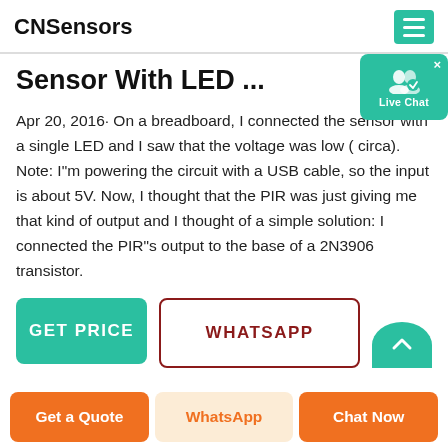CNSensors
Sensor With LED ...
Apr 20, 2016· On a breadboard, I connected the sensor with a single LED and I saw that the voltage was low ( circa). Note: I"m powering the circuit with a USB cable, so the input is about 5V. Now, I thought that the PIR was just giving me that kind of output and I thought of a simple solution: I connected the PIR"s output to the base of a 2N3906 transistor.
[Figure (other): Live Chat badge with user icon]
[Figure (other): GET PRICE button (teal), WHATSAPP button (white with dark red border), and partial circular teal button]
Get a Quote | WhatsApp | Chat Now